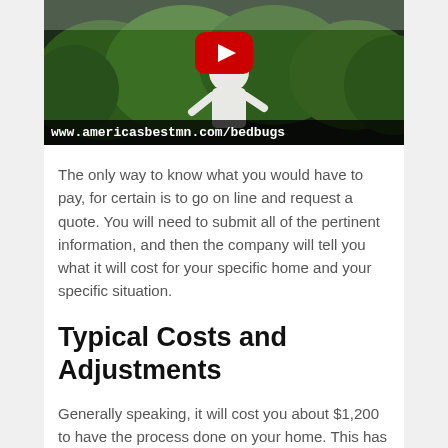[Figure (screenshot): YouTube video thumbnail showing a person in a white shirt outdoors with green trees in the background and a YouTube play button overlay. URL bar at bottom reads: www.americasbestmn.com/bedbugs]
The only way to know what you would have to pay, for certain is to go on line and request a quote. You will need to submit all of the pertinent information, and then the company will tell you what it will cost for your specific home and your specific situation.
Typical Costs and Adjustments
Generally speaking, it will cost you about $1,200 to have the process done on your home. This has been found to be the average cost. However, you need to make sure that you do not take this as a